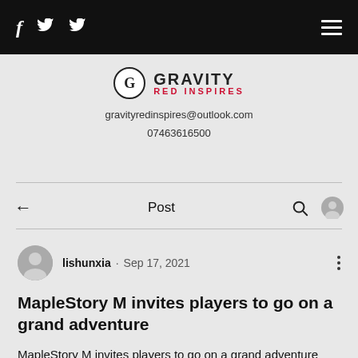f  🐦  🐦  ☰
[Figure (logo): Gravity Red Inspires logo — circle G icon with GRAVITY in bold and RED INSPIRES in red below]
gravityredinspires@outlook.com
07463616500
← Post 🔍 👤
lishunxia · Sep 17, 2021
MapleStory M invites players to go on a grand adventure
MapleStory M invites players to go on a grand adventure right in the palm of their hands. One of the newest entries in the series, the game brings all the 2D side-